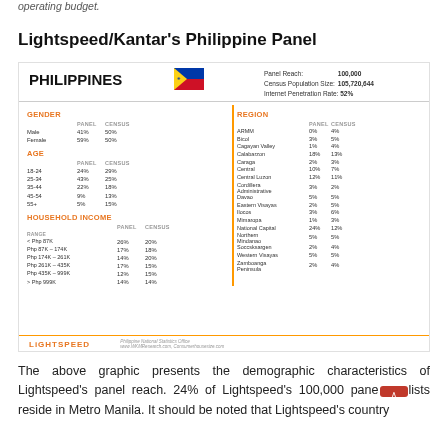operating budget.
Lightspeed/Kantar's Philippine Panel
[Figure (infographic): Lightspeed/Kantar Philippine Panel infographic showing panel reach of 100,000, Census Population Size 105,720,644, Internet Penetration Rate 52%. Demographic breakdown by Gender (Male 41%/50%, Female 59%/50%), Age (18-24: 24%/29%, 25-34: 43%/25%, 35-44: 22%/18%, 45-54: 9%/13%, 55+: 5%/15%), Household Income brackets, and Region breakdown including ARMM, Bicol, Cagayan Valley, Calabarzon, Caraga, Central, Central Luzon, Cordillera Administrative Region, Davao, Eastern Visayas, Ilocos, Mimaropa, National Capital, Northern Mindanao, Soccsksargen, Western Visayas, Zamboanga Peninsula.]
The above graphic presents the demographic characteristics of Lightspeed's panel reach. 24% of Lightspeed's 100,000 panelists reside in Metro Manila. It should be noted that Lightspeed's country